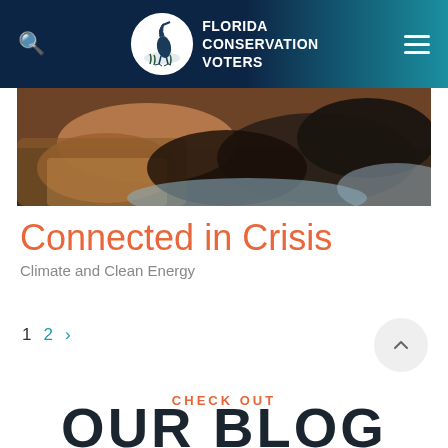FLORIDA CONSERVATION VOTERS
[Figure (photo): Close-up photo of hands, warm tones, partially cropped]
Connected in Crisis
Climate and Clean Energy
1  2  >
CHECK OUT
OUR BLOG